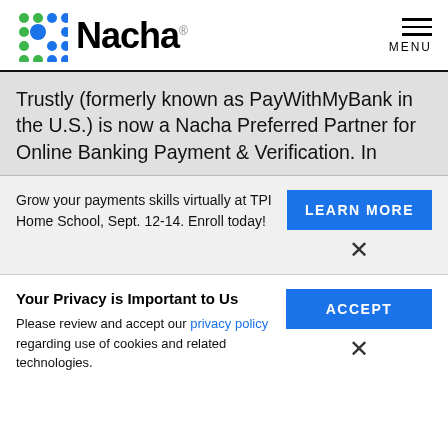[Figure (logo): Nacha logo with colorful dot grid and bold Nacha wordmark]
MENU
Trustly (formerly known as PayWithMyBank in the U.S.) is now a Nacha Preferred Partner for Online Banking Payment & Verification. In
Grow your payments skills virtually at TPI Home School, Sept. 12-14. Enroll today!
LEARN MORE
×
Your Privacy is Important to Us
Please review and accept our privacy policy regarding use of cookies and related technologies.
ACCEPT
×